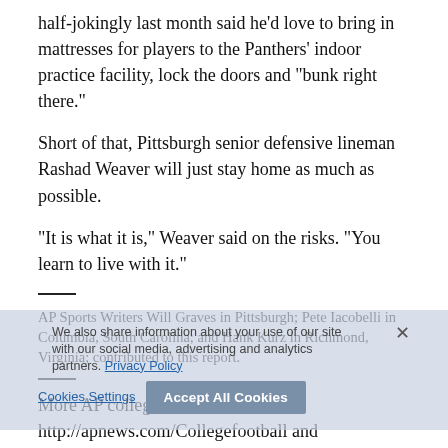half-jokingly last month said he'd love to bring in mattresses for players to the Panthers' indoor practice facility, lock the doors and “bunk right there.”
Short of that, Pittsburgh senior defensive lineman Rashad Weaver will just stay home as much as possible.
“It is what it is,” Weaver said on the risks. “You learn to live with it.”
AP Sports Writers Will Graves in Pittsburgh; Pete Iacobelli in Columbia, South Carolina; and Hank Kurz in Richmond, Virginia; contributed to this report.
More AP college football: http://apnews.com/Collegefootball and http://www.twitter.com/AP_Top25